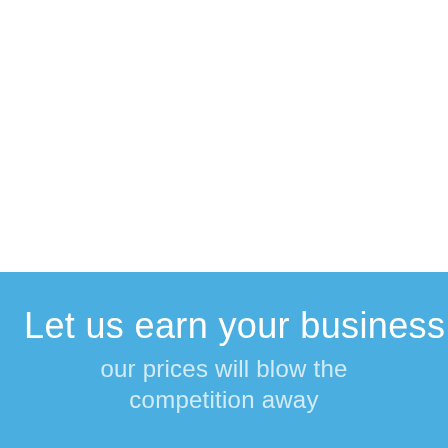[Figure (illustration): Large white empty area occupying the top portion of the page]
Let us earn your business
our prices will blow the competition away